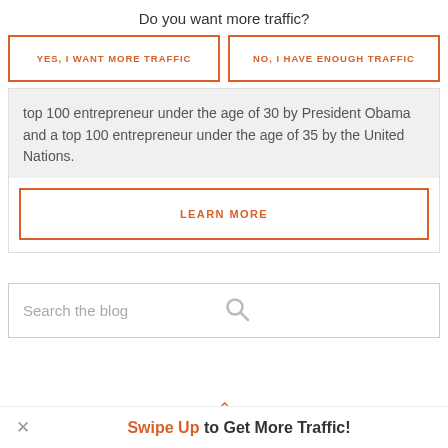Do you want more traffic?
YES, I WANT MORE TRAFFIC
NO, I HAVE ENOUGH TRAFFIC
top 100 entrepreneur under the age of 30 by President Obama and a top 100 entrepreneur under the age of 35 by the United Nations.
LEARN MORE
Search the blog
Swipe Up to Get More Traffic!